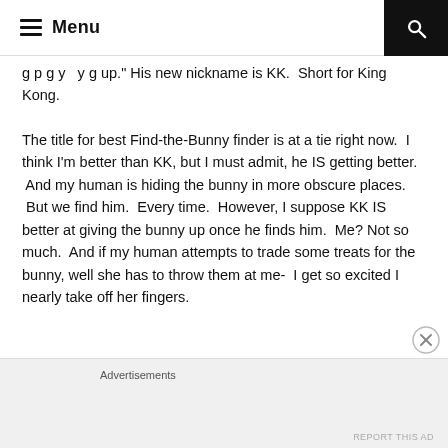Menu
g p g y y g up.” His new nickname is KK.  Short for King Kong.
The title for best Find-the-Bunny finder is at a tie right now.  I think I’m better than KK, but I must admit, he IS getting better.  And my human is hiding the bunny in more obscure places.  But we find him.  Every time.  However, I suppose KK IS better at giving the bunny up once he finds him.  Me? Not so much.  And if my human attempts to trade some treats for the bunny, well she has to throw them at me-  I get so excited I nearly take off her fingers.
Advertisements